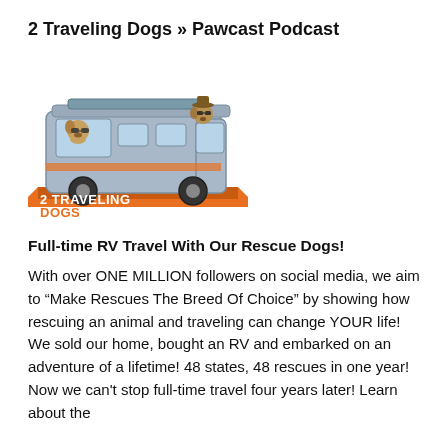2 Traveling Dogs » Pawcast Podcast
[Figure (logo): 2 Traveling Dogs logo featuring an illustrated RV/motorhome with cartoon dogs, an orange platform base, and text reading '2 TRAVELING DOGS' and 'make rescues the breed of choice .com']
Full-time RV Travel With Our Rescue Dogs!
With over ONE MILLION followers on social media, we aim to "Make Rescues The Breed Of Choice" by showing how rescuing an animal and traveling can change YOUR life! We sold our home, bought an RV and embarked on an adventure of a lifetime! 48 states, 48 rescues in one year! Now we can't stop full-time travel four years later! Learn about the